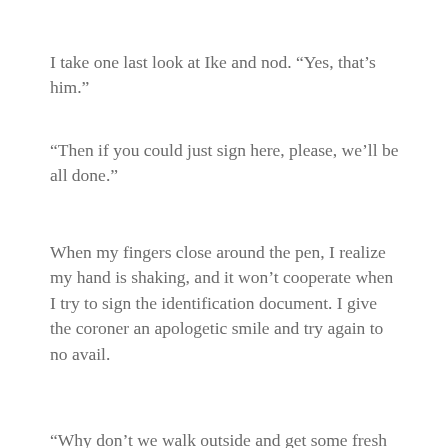I take one last look at Ike and nod. “Yes, that’s him.”
“Then if you could just sign here, please, we’ll be all done.”
When my fingers close around the pen, I realize my hand is shaking, and it won’t cooperate when I try to sign the identification document. I give the coroner an apologetic smile and try again to no avail.
“Why don’t we walk outside and get some fresh air?” Adam covers my hand with his.
The coroner releases a heavy sigh without bothering to hide his irritation. “We really need to get this done. Could you just sign the paper, Miss Jacobs?”
“She needs some air.” Adam’s tone is quietly